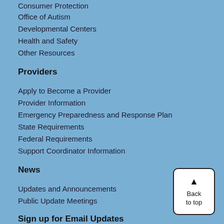Consumer Protection
Office of Autism
Developmental Centers
Health and Safety
Other Resources
Providers
Apply to Become a Provider
Provider Information
Emergency Preparedness and Response Plan
State Requirements
Federal Requirements
Support Coordinator Information
News
Updates and Announcements
Public Update Meetings
Sign up for Email Updates